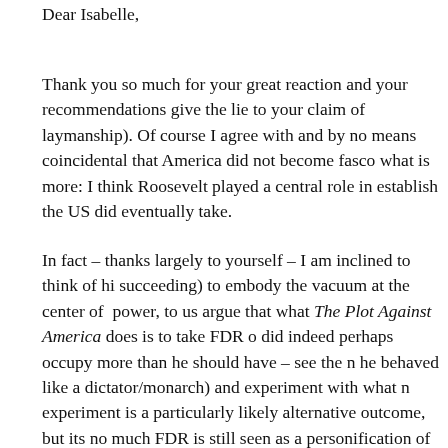Dear Isabelle,
Thank you so much for your great reaction and your recommendations (which give the lie to your claim of laymanship). Of course I agree with you, and by no means coincidental that America did not become fascist, and what is more: I think Roosevelt played a central role in establishing the path the US did eventually take.
In fact – thanks largely to yourself – I am inclined to think of his (nearly succeeding) to embody the vacuum at the center of power, to use him to argue that what The Plot Against America does is to take FDR out (who did indeed perhaps occupy more than he should have – see the n where he behaved like a dictator/monarch) and experiment with what m experiment is a particularly likely alternative outcome, but its n much FDR is still seen as a personification of the Good War. An tendencies and anti-Semitism that were really there. Charles Lin Roth quotes him as saying and the KKK also lynched Jews (tho track record for anti-Semitism is definitely better than that of m salutory also to realize sometimes that it is not clean. I think tha